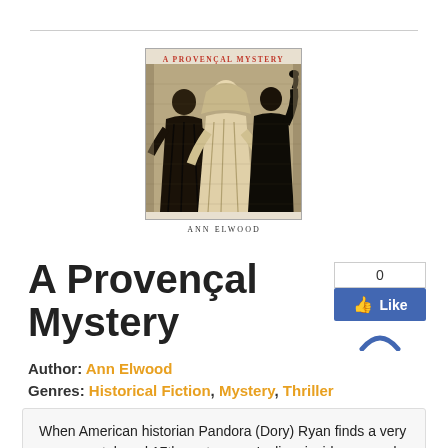[Figure (illustration): Book cover for 'A Provençal Mystery' by Ann Elwood. Shows a medieval-style black and white engraving of robed figures. The title 'A PROVENÇAL MYSTERY' appears in red at the top and 'ANN ELWOOD' in dark text at the bottom.]
A Provençal Mystery
Author: Ann Elwood
Genres: Historical Fiction, Mystery, Thriller
[Figure (other): Facebook Like button widget showing 0 likes and a blue Like button with thumbs up icon. A blue loading arc is visible below.]
When American historian Pandora (Dory) Ryan finds a very rare, uncataloged 17th-century nun's diary inside a record book at the provincial archives in Avignon, she is thrilled. This is historian's treasure. But she doesn't know yet that it will send her on a search that brings about changes in how she feels